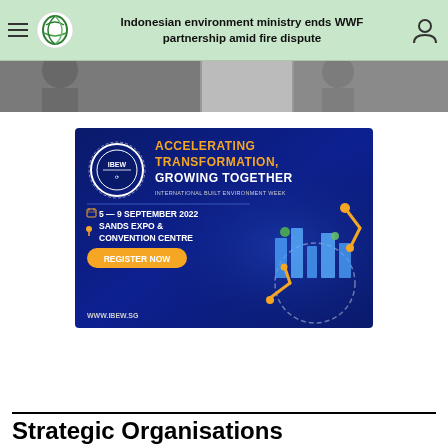Indonesian environment ministry ends WWF partnership amid fire dispute
[Figure (photo): Partial image strip showing blurred/cropped photos of people or scenes]
[Figure (infographic): IBEW International Built Environment Week advertisement banner. Text: ACCELERATING TRANSFORMATION, GROWING TOGETHER. INTERNATIONAL BUILT ENVIRONMENT WEEK. 5 – 9 SEPTEMBER 2022. SANDS EXPO & CONVENTION CENTRE. REGISTER NOW. WWW.IBEW.SG]
Strategic Organisations